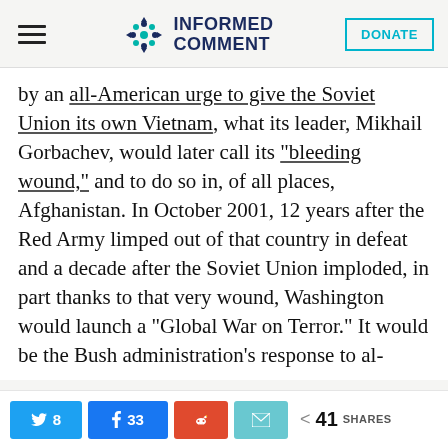Informed Comment
by an all-American urge to give the Soviet Union its own Vietnam, what its leader, Mikhail Gorbachev, would later call its “bleeding wound,” and to do so in, of all places, Afghanistan. In October 2001, 12 years after the Red Army limped out of that country in defeat and a decade after the Soviet Union imploded, in part thanks to that very wound, Washington would launch a “Global War on Terror.” It would be the Bush administration’s response to al-